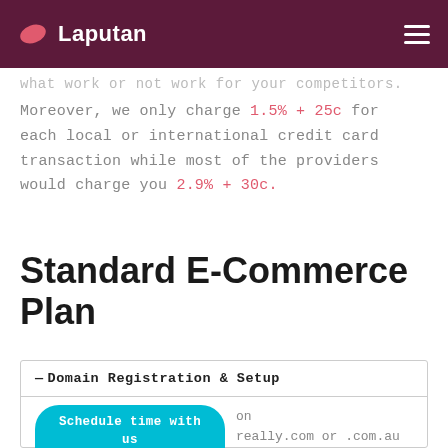Laputan
what work or not work for your competitors.
Moreover, we only charge 1.5% + 25c for each local or international credit card transaction while most of the providers would charge you 2.9% + 30c.
Standard E-Commerce Plan
| — Domain Registration & Setup |
| --- |
| Schedule time with us powered by Calendly | on really.com or .com.au domain name |